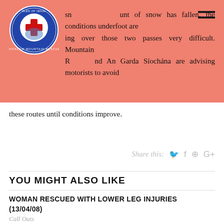sn[ow] [am]ount of snow has fallen, the conditions underfoot are [mak]ing over those two passes very difficult. Mountain R[escue] [an]d An Garda Síochána are advising motorists to avoid these routes until conditions improve.
Share this:
YOU MIGHT ALSO LIKE
WOMAN RESCUED WITH LOWER LEG INJURIES (13/04/08)
Call Outs